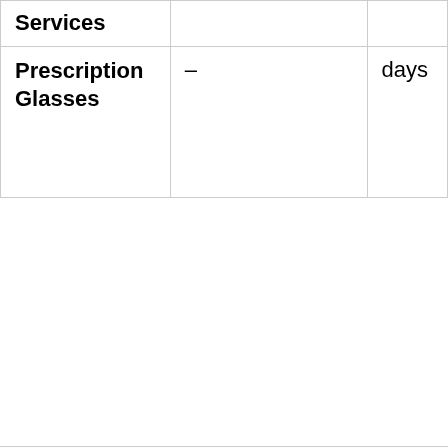| Services |  |  |
| Prescription Glasses | – | days |